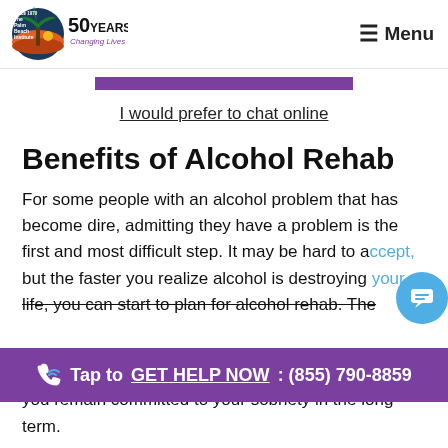The Palm Beach Institute — 50 Years Changing Lives | Menu
[Figure (logo): The Palm Beach Institute logo with palm tree and '50 Years Changing Lives' text]
I would prefer to chat online
Benefits of Alcohol Rehab
For some people with an alcohol problem that has become dire, admitting they have a problem is the first and most difficult step. It may be hard to accept, but the faster you realize alcohol is destroying your life, you can start to plan for alcohol rehab. The you remain committed to your sobriety in the long-term.
Tap to GET HELP NOW: (855) 790-8859